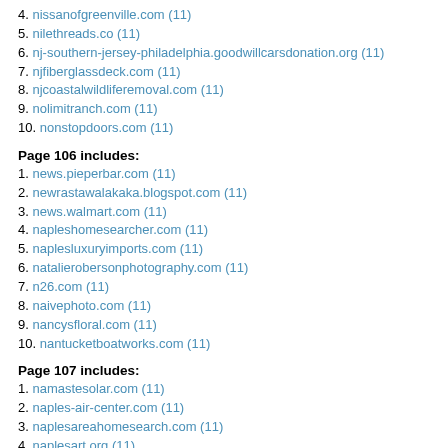4. nissanofgreenville.com (11)
5. nilethreads.co (11)
6. nj-southern-jersey-philadelphia.goodwillcarsdonation.org (11)
7. njfiberglassdeck.com (11)
8. njcoastalwildliferemoval.com (11)
9. nolimitranch.com (11)
10. nonstopdoors.com (11)
Page 106 includes:
1. news.pieperbar.com (11)
2. newrastawalakaka.blogspot.com (11)
3. news.walmart.com (11)
4. napleshomesearcher.com (11)
5. naplesluxuryimports.com (11)
6. natalierobersonphotography.com (11)
7. n26.com (11)
8. naivephoto.com (11)
9. nancysfloral.com (11)
10. nantucketboatworks.com (11)
Page 107 includes:
1. namastesolar.com (11)
2. naples-air-center.com (11)
3. naplesareahomesearch.com (11)
4. naplesart.org (11)
5. nantucketbikebaskets.com (11)
6. napacanada.com (11)
7. nextprojectstudio.com (11)
8. nexwear.com (11)
9. nexlan.com (11)
10. nextgenroofsolutions.com (11)
Page 108 includes:
1. novellaatarcadia.com (10)
2. noizeoriginal.com (10)